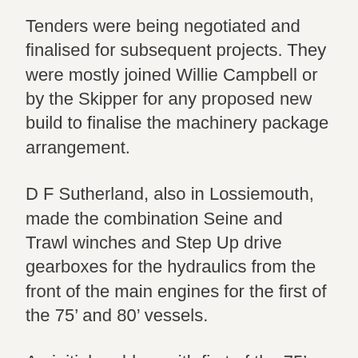Tenders were being negotiated and finalised for subsequent projects. They were mostly joined Willie Campbell or by the Skipper for any proposed new build to finalise the machinery package arrangement.
D F Sutherland, also in Lossiemouth, made the combination Seine and Trawl winches and Step Up drive gearboxes for the hydraulics from the front of the main engines for the first of the 75’ and 80’ vessels.
An initial problem with first of the 75’ and 80’ vessels, especially when they added rope reels later, was the loading of the hydraulic systems on the Main Engines at low Seine Net towing speeds. Three of the early boats I